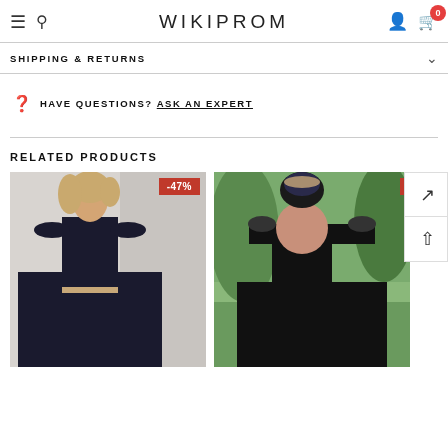WIKIPROM
SHIPPING & RETURNS
HAVE QUESTIONS? ASK AN EXPERT
RELATED PRODUCTS
[Figure (photo): Black two-piece prom dress with off-shoulder neckline, ball gown skirt, worn by a blonde model. Shows -47% discount badge.]
[Figure (photo): Black off-shoulder lace prom dress, high-low style, worn by a dark-haired model outdoors.]